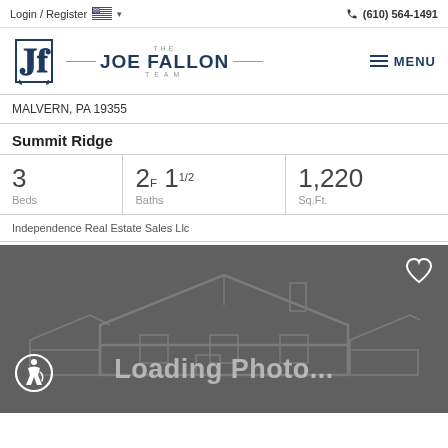Login / Register   (610) 564-1491
[Figure (logo): The Joe Fallon Team real estate logo with stylized JF monogram and menu button]
MALVERN, PA 19355
Summit Ridge
| Beds | Baths | Sq.Ft. |
| --- | --- | --- |
| 3 | 2F 1 1/2 | 1,220 |
Independence Real Estate Sales Llc
[Figure (photo): Loading Photo placeholder with house watermark outline on dark grey background, heart icon top right, accessibility icon bottom left]